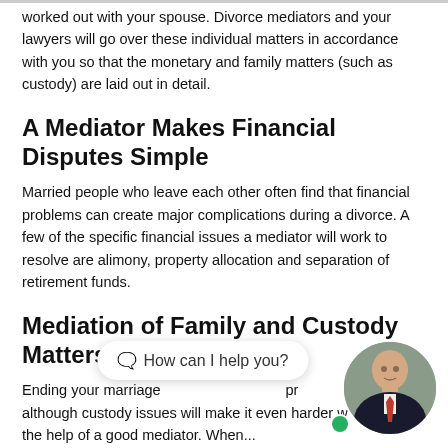worked out with your spouse. Divorce mediators and your lawyers will go over these individual matters in accordance with you so that the monetary and family matters (such as custody) are laid out in detail.
A Mediator Makes Financial Disputes Simple
Married people who leave each other often find that financial problems can create major complications during a divorce. A few of the specific financial issues a mediator will work to resolve are alimony, property allocation and separation of retirement funds.
Mediation of Family and Custody Matters
Ending your marriage ... although custody issues will make it even harder ... the help of a good mediator. When ...
[Figure (photo): Chat widget overlay with emoji and text 'How can I help you?' and circular avatar photo of a man in a suit with a red tie, with a green online indicator dot.]